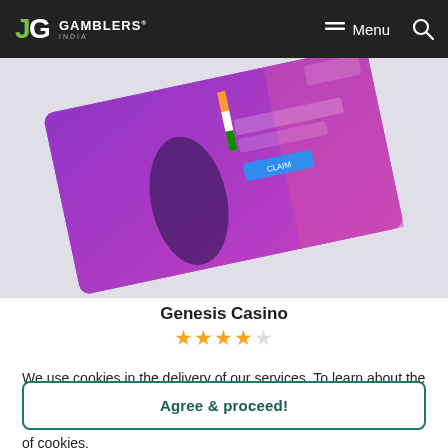Just Gamblers India — Menu — Search
[Figure (screenshot): Genesis Casino website screenshot shown at an angle, featuring a woman in black outfit with Indian flag, purple/pink background with bonus text]
Genesis Casino
★★★★☆
We use cookies in the delivery of our services. To learn about the cookies we use and information about your preferences and opt-out choices, please . By using our platform you agree to our use of cookies.
Agree & proceed!